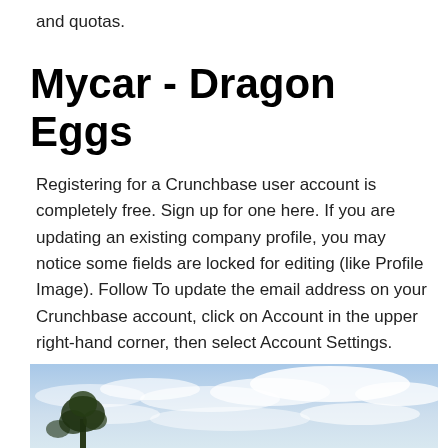and quotas.
Mycar - Dragon Eggs
Registering for a Crunchbase user account is completely free. Sign up for one here. If you are updating an existing company profile, you may notice some fields are locked for editing (like Profile Image). Follow To update the email address on your Crunchbase account, click on Account in the upper right-hand corner, then select Account Settings.
[Figure (photo): Outdoor sky scene with clouds and a tree silhouette visible at the bottom left]